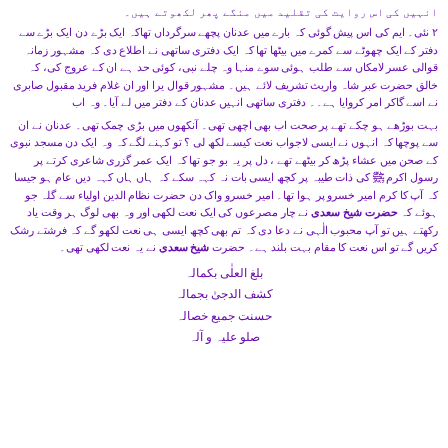انہیں کی اس روایت کی تقلید میں منگے پھر لکھوتے ہیں۔
۲ نئی۔ ایم کی اس پیش گوئی کہ بارے میں عدنان پچھے سرگرداں تھاکہ ایک بڑے دن ایک بڑے سے دفتر کے ایک چھوٹے سے کمرے میں بیٹھا تھا کہ ایک دفتری ساتھی نے اطلاع دی کہ مشہور زمانہ قوالی عسر لامکاں سے طلب ہوئی سوے منہا وہ چلے نبی، کوئی حد ہے ان کے عروج کی، کہ خالق حضرت عبر شاہ واریث تشریف لائے ہیں۔ مشہور قوال یرا اور ان غلام فرید مقبول صابری نے اسے گاکر امر کروایا ہے۔۔ دفتری ساتھی انہیں عدنان کے دفتر میں لے آیا۔ وہ اب
بہت بوڑھے ہو چکے تھے پر صحت اب بھی اچھی تھی۔ آنکھوں میں بڑی چمک تھی۔ عدنان نے ان سے پوچھا کہ انہوں نے ایسی لاجواب نعت کیسے لکھ لی ؟ تو کہنے لگے کہ وہ ایک دن مسجد نبوی کے صحن میں عشاء پڑھ کر بیٹھے تھے، دل پریہ بو جو تھا کہ ایک عمر گزری شاعری کرتے پر رسول اکرم ﷺ کی ذات طیبہ پر کچھ ایسی بات نہ کہہ سکے کہ ہاں ہاں کہہ دیں عام ہو جیسا کہ آپ کا کرم امیر خسرو پر ہوا تھا۔ امیر خسرو واک دن حضرت نظام الدین اولیاء سے گلہ جو ہوئے کہ حضرت شیخ سعدی نے چار مصرعوں کی ایک نعت لکھی اور وہ بھی لوگ ہر وقت یاد رکھتے ہیں تو آپ محبوب الٰہی نے دعا دی کہ تم بھی کچھ ایسی ہی نعت لکھو گے کہ فرشتے رشک کریں گے تو اس نعت کا مقام بہت بلند ہے۔ حضرت شیخ سعدی نے یہ نعت لکھی تھی۔
بلغ العلٰی بکمالہ
کشف الدجیٰ بجمالہ
حسنت جمیع خصالہ
صلو علیہ و آلہ